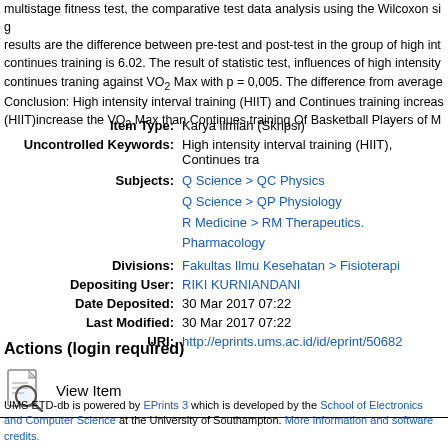multistage fitness test, the comparative test data analysis using the Wilcoxon signed rank results are the difference between pre-test and post-test in the group of high intensity interval continues training is 6.02. The result of statistic test, influences of high intensity interval continues traning against VO₂ Max with p = 0,005. The difference from average Conclusion: High intensity interval training (HIIT) and Continues training increas (HIIT)increase the VO₂ Max than Continues training Of Basketball Players of M
| Field | Value |
| --- | --- |
| Item Type: | Karya ilmiah (Skripsi) |
| Uncontrolled Keywords: | High intensity interval training (HIIT), Continues tra |
| Subjects: | Q Science > QC Physics
Q Science > QP Physiology
R Medicine > RM Therapeutics. Pharmacology |
| Divisions: | Fakultas Ilmu Kesehatan > Fisioterapi |
| Depositing User: | RIKI KURNIANDANI |
| Date Deposited: | 30 Mar 2017 07:22 |
| Last Modified: | 30 Mar 2017 07:22 |
| URI: | http://eprints.ums.ac.id/id/eprint/50682 |
Actions (login required)
[Figure (illustration): View Item icon - magnifying glass over document]
View Item
UMS ETD-db is powered by EPrints 3 which is developed by the School of Electronics and Computer Science at the University of Southampton. More information and software credits.